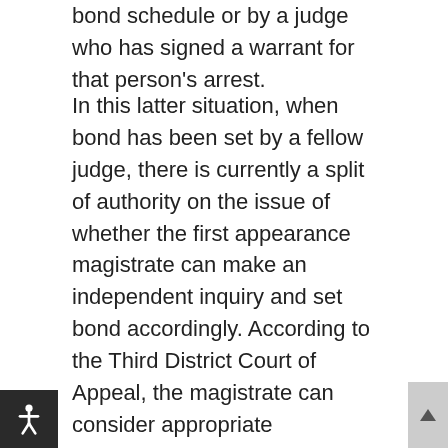bond schedule or by a judge who has signed a warrant for that person's arrest.
In this latter situation, when bond has been set by a fellow judge, there is currently a split of authority on the issue of whether the first appearance magistrate can make an independent inquiry and set bond accordingly. According to the Third District Court of Appeal, the magistrate can consider appropriate conditions for release of a defendant who has been arrested on a warrant signed by another judge, and in fact has the duty to do so, "so long as that judge does not specifically preclude him from doing so." McCoy v. State, 702 So. 2d 252 (Fla. 3d DCA 1997). Two other district courts, however, have taken a different approach. In Norris v. State, 737 So. 2d 1240 (Fla 5th DCA